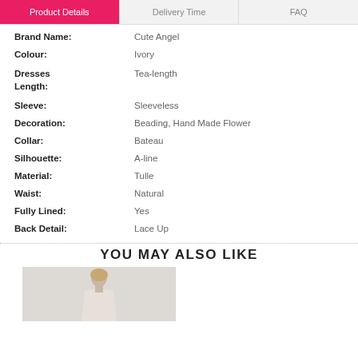Product Details
Delivery Time
FAQ
| Attribute | Value |
| --- | --- |
| Brand Name: | Cute Angel |
| Colour: | Ivory |
| Dresses Length: | Tea-length |
| Sleeve: | Sleeveless |
| Decoration: | Beading, Hand Made Flower |
| Collar: | Bateau |
| Silhouette: | A-line |
| Material: | Tulle |
| Waist: | Natural |
| Fully Lined: | Yes |
| Back Detail: | Lace Up |
YOU MAY ALSO LIKE
[Figure (photo): Photo of a woman in a dress, shown from approximately the waist up, light gray background]